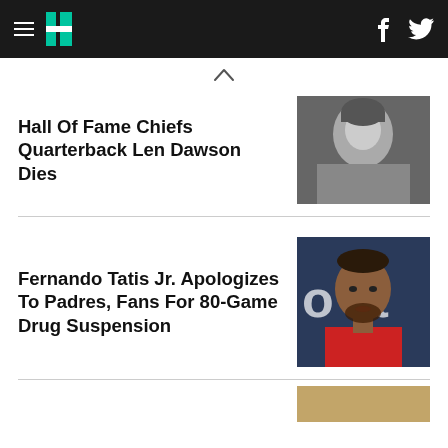HuffPost navigation bar with logo, hamburger menu, Facebook and Twitter icons
Hall Of Fame Chiefs Quarterback Len Dawson Dies
[Figure (photo): Black and white photo of Len Dawson]
Fernando Tatis Jr. Apologizes To Padres, Fans For 80-Game Drug Suspension
[Figure (photo): Color photo of Fernando Tatis Jr. in red shirt with text 'o h lt' visible in background]
[Figure (photo): Partial thumbnail of a third article at bottom right]